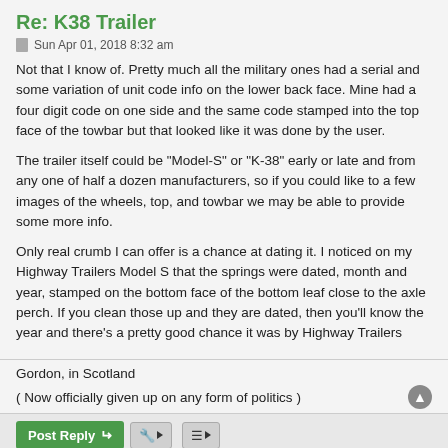Re: K38 Trailer
Sun Apr 01, 2018 8:32 am
Not that I know of. Pretty much all the military ones had a serial and some variation of unit code info on the lower back face. Mine had a four digit code on one side and the same code stamped into the top face of the towbar but that looked like it was done by the user.
The trailer itself could be "Model-S" or "K-38" early or late and from any one of half a dozen manufacturers, so if you could like to a few images of the wheels, top, and towbar we may be able to provide some more info.
Only real crumb I can offer is a chance at dating it. I noticed on my Highway Trailers Model S that the springs were dated, month and year, stamped on the bottom face of the bottom leaf close to the axle perch. If you clean those up and they are dated, then you'll know the year and there's a pretty good chance it was by Highway Trailers
Gordon, in Scotland
( Now officially given up on any form of politics )
2 posts • Page 1 of 1